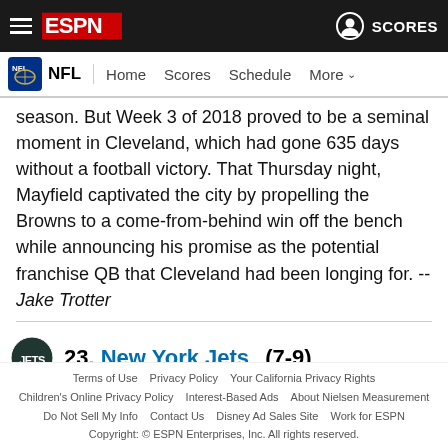ESPN NFL — Home | Scores | Schedule | More
season. But Week 3 of 2018 proved to be a seminal moment in Cleveland, which had gone 635 days without a football victory. That Thursday night, Mayfield captivated the city by propelling the Browns to a come-from-behind win off the bench while announcing his promise as the potential franchise QB that Cleveland had been longing for. -- Jake Trotter
23. New York Jets (7-9)
Week 17 ranking: 25
Terms of Use  Privacy Policy  Your California Privacy Rights  Children's Online Privacy Policy  Interest-Based Ads  About Nielsen Measurement  Do Not Sell My Info  Contact Us  Disney Ad Sales Site  Work for ESPN  Copyright: © ESPN Enterprises, Inc. All rights reserved.